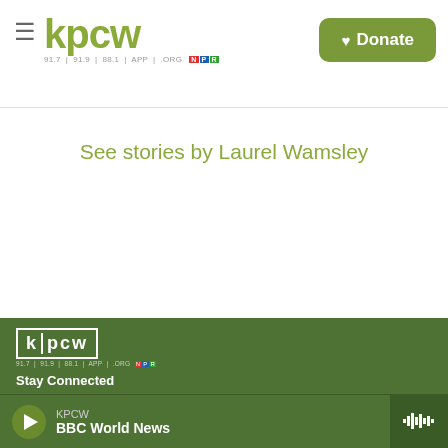kpcw | Donate
See stories by Laurel Wamsley
[Figure (logo): KPCW logo in white on green background with tagline '91.7 | 91.9 | 88.1 | APP | .ORG' and NPR badge]
Stay Connected
[Figure (illustration): Three social media icons: Twitter (bird), Instagram (camera), Facebook (f) — black circles on green background]
© 2022 KPCW
KPCW — BBC World News (play bar with waveform button)